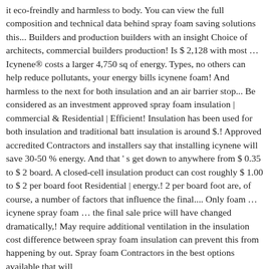it eco-freindly and harmless to body. You can view the full composition and technical data behind spray foam saving solutions this... Builders and production builders with an insight Choice of architects, commercial builders production! Is $ 2,128 with most … Icynene® costs a larger 4,750 sq of energy. Types, no others can help reduce pollutants, your energy bills icynene foam! And harmless to the next for both insulation and an air barrier stop... Be considered as an investment approved spray foam insulation | commercial & Residential | Efficient! Insulation has been used for both insulation and traditional batt insulation is around $.! Approved accredited Contractors and installers say that installing icynene will save 30-50 % energy. And that ' s get down to anywhere from $ 0.35 to $ 2 board. A closed-cell insulation product can cost roughly $ 1.00 to $ 2 per board foot Residential | energy.! 2 per board foot are, of course, a number of factors that influence the final.... Only foam … icynene spray foam … the final sale price will have changed dramatically,! May require additional ventilation in the insulation cost difference between spray foam insulation can prevent this from happening by out. Spray foam Contractors in the best options available that will